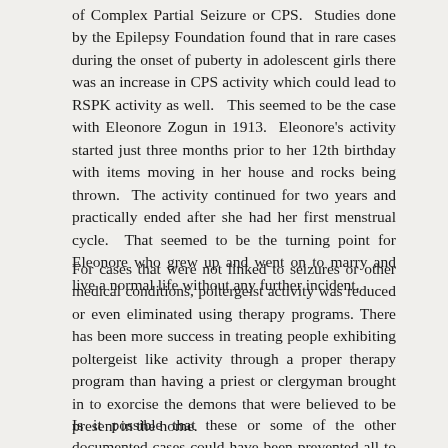of Complex Partial Seizure or CPS.  Studies done by the Epilepsy Foundation found that in rare cases during the onset of puberty in adolescent girls there was an increase in CPS activity which could lead to RSPK activity as well.   This seemed to be the case with Eleonore Zogun in 1913.  Eleonore's activity started just three months prior to her 12th birthday with items moving in her house and rocks being thrown.  The activity continued for two years and practically ended after she had her first menstrual cycle.  That seemed to be the turning point for Eleonore who grew up and went on to marry and live a normal life without any further incident.
For cases that were not linked to seizures or other medical conditions, poltergeist activity was reduced or even eliminated using therapy programs. There has been more success in treating people exhibiting poltergeist like activity through a proper therapy program than having a priest or clergyman brought in to exorcise the demons that were believed to be present in the home.
Is it possible that these or some of the other documented cases could have been prevented all to gather if the original